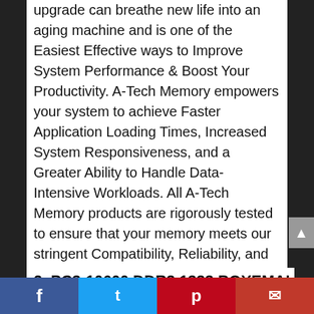upgrade can breathe new life into an aging machine and is one of the Easiest Effective ways to Improve System Performance & Boost Your Productivity. A-Tech Memory empowers your system to achieve Faster Application Loading Times, Increased System Responsiveness, and a Greater Ability to Handle Data-Intensive Workloads. All A-Tech Memory products are rigorously tested to ensure that your memory meets our stringent Compatibility, Reliability, and Performance standards. Give Your Computer the Best, Trust A-Tech!
2. PC3-10600  DDR3 1333  BOYEMAI
f  t  p  mail